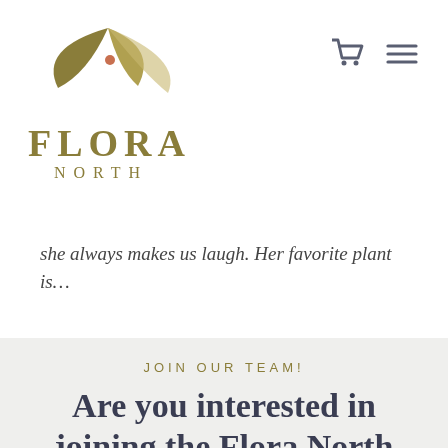[Figure (logo): Flora North logo: stylized plant/leaf graphic in olive/gold tones above the text FLORA NORTH]
she always makes us laugh. Her favorite plant is…
JOIN OUR TEAM!
Are you interested in joining the Flora North